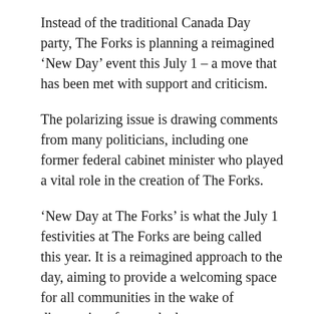Instead of the traditional Canada Day party, The Forks is planning a reimagined ‘New Day’ event this July 1 – a move that has been met with support and criticism.
The polarizing issue is drawing comments from many politicians, including one former federal cabinet minister who played a vital role in the creation of The Forks.
‘New Day at The Forks’ is what the July 1 festivities at The Forks are being called this year. It is a reimagined approach to the day, aiming to provide a welcoming space for all communities in the wake of discoveries of unmarked graves at residential school sites across the country last year.
The Forks said it made the decision based on